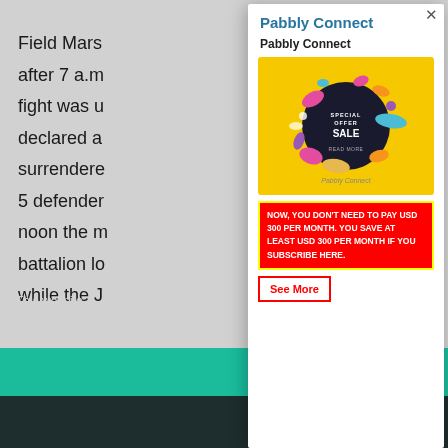Field Mars after 7 a.m fight was u declared a surrendere 5 defender noon the m battalion lo while the J
This website experience
Pabbly Connect
Pabbly Connect
[Figure (illustration): Yellow background promotional image with a dark circular badge in center showing SPECIAL OFFER SALE READ MORE text, with colorful abstract splashes around it. Caption: Pabbly Connect]
NOW, YOU DON'T NEED TO PAY USD 300 PER MONTH. YOU SAVE AT LEAST USD 300 PER MONTH IF YOU SUBSCRIBE HERE.
See More